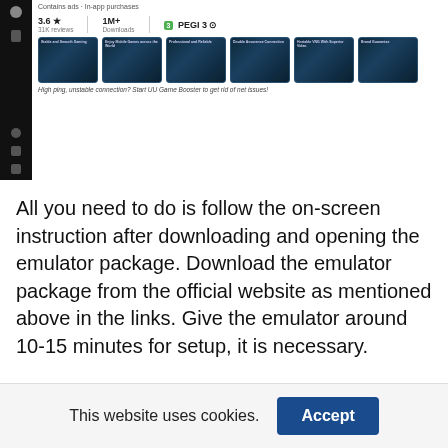[Figure (screenshot): Screenshot of a Google Play Store app listing showing rating 3.6 stars with 31K reviews, 1M+ downloads, PEGI 3, six app screenshot thumbnails, and tagline 'High ping, unstable connection? Start UU Game Booster to get rid of net issues!']
All you need to do is follow the on-screen instruction after downloading and opening the emulator package. Download the emulator package from the official website as mentioned above in the links. Give the emulator around 10-15 minutes for setup, it is necessary.
This website uses cookies.